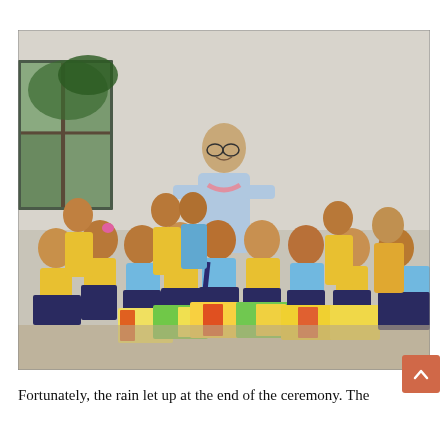[Figure (photo): A group of schoolchildren in yellow and blue uniforms holding colorful books/plates, posing with an elderly Buddhist monk or teacher in a light blue robe with a pink scarf, inside a room with a window showing greenery outside.]
Fortunately, the rain let up at the end of the ceremony. The